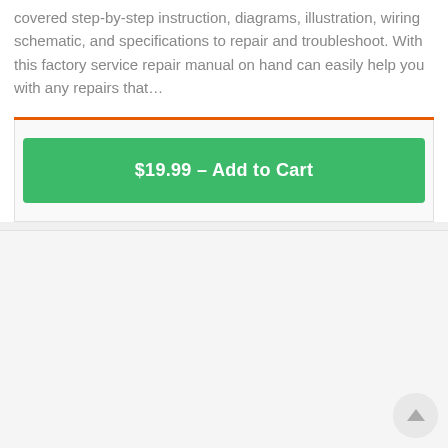covered step-by-step instruction, diagrams, illustration, wiring schematic, and specifications to repair and troubleshoot. With this factory service repair manual on hand can easily help you with any repairs that…
[Figure (other): Orange horizontal divider line]
$19.99 – Add to Cart